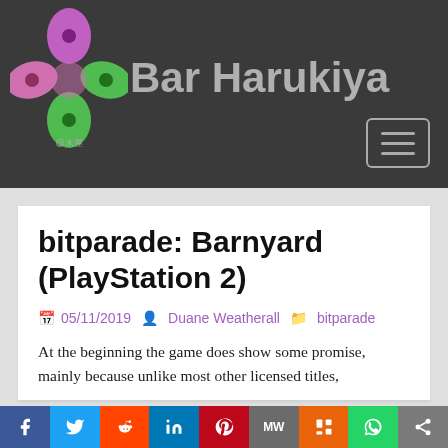Bar Harukiya
bitparade: Barnyard (PlayStation 2)
05/11/2019   Duane Weatherall   bitparade
At the beginning the game does show some promise, mainly because unlike most other licensed titles,